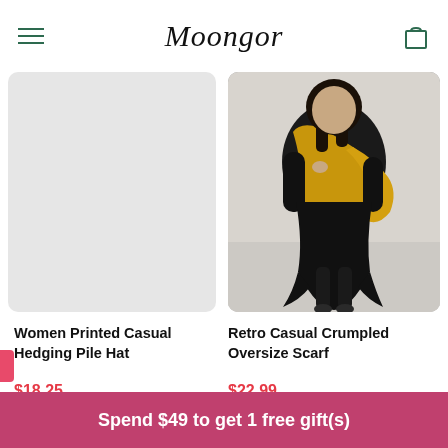Moongor
[Figure (photo): Left product: placeholder/blank light gray product image for Women Printed Casual Hedging Pile Hat]
[Figure (photo): Right product: photo of person wearing black oversized outfit with large mustard/yellow crumpled scarf, photographed outdoors in winter setting]
Women Printed Casual Hedging Pile Hat
$18.25
QUICK SHOP
Retro Casual Crumpled Oversize Scarf
$22.99
QUICK SHOP
Spend $49 to get 1 free gift(s)